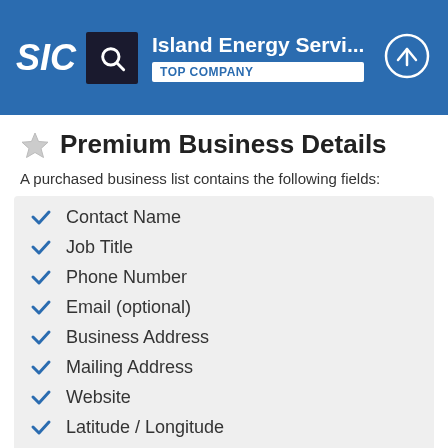SIC | Island Energy Servi... TOP COMPANY
Premium Business Details
A purchased business list contains the following fields:
Contact Name
Job Title
Phone Number
Email (optional)
Business Address
Mailing Address
Website
Latitude / Longitude
Modeled Credit Rating
Square Footage
Public / Private
Location Type*